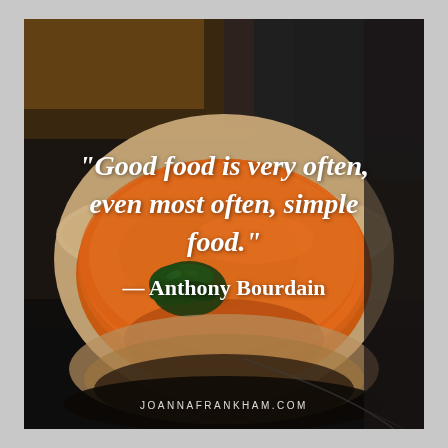[Figure (photo): A rustic ceramic bowl filled with orange tomato or pumpkin soup, garnished with fresh green herbs (parsley), placed on a dark surface with a dark cloth napkin. The background is dark and blurred.]
“Good food is very often, even most often, simple food.”
— Anthony Bourdain
JOANNAFRANKHAM.COM